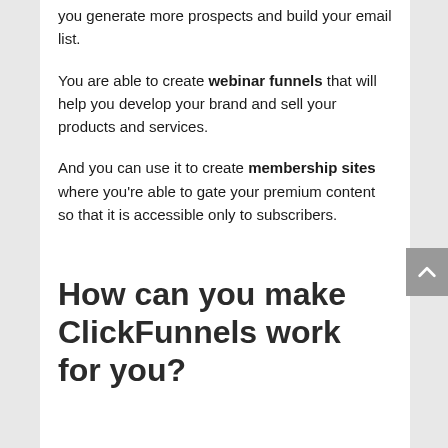you generate more prospects and build your email list.
You are able to create webinar funnels that will help you develop your brand and sell your products and services.
And you can use it to create membership sites where you're able to gate your premium content so that it is accessible only to subscribers.
How can you make ClickFunnels work for you?